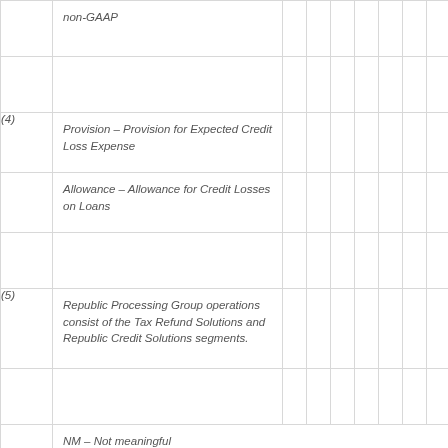|  | non-GAAP |  |  |  |  |  |  |  |  |  |
|  |  |  |  |  |  |  |  |  |  |  |
| (4) | Provision – Provision for Expected Credit Loss Expense |  |  |  |  |  |  |  |  |  |
|  | Allowance – Allowance for Credit Losses on Loans |  |  |  |  |  |  |  |  |  |
|  |  |  |  |  |  |  |  |  |  |  |
| (5) | Republic Processing Group operations consist of the Tax Refund Solutions and Republic Credit Solutions segments. |  |  |  |  |  |  |  |  |  |
|  |  |  |  |  |  |  |  |  |  |  |
|  | NM – Not meaningful |  |  |  |  |  |  |  |  |  |